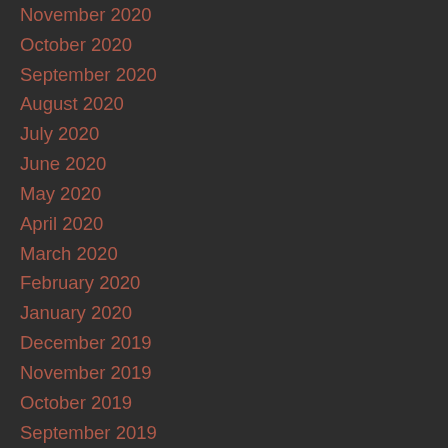November 2020
October 2020
September 2020
August 2020
July 2020
June 2020
May 2020
April 2020
March 2020
February 2020
January 2020
December 2019
November 2019
October 2019
September 2019
August 2019
July 2019
June 2019
May 2019
April 2019
March 2019